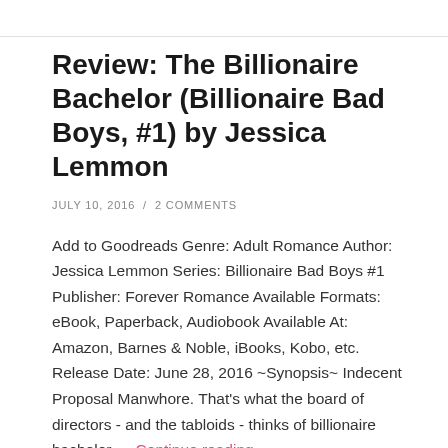Review: The Billionaire Bachelor (Billionaire Bad Boys, #1) by Jessica Lemmon
JULY 10, 2016  /  2 COMMENTS
Add to Goodreads Genre: Adult Romance Author: Jessica Lemmon Series: Billionaire Bad Boys #1 Publisher: Forever Romance Available Formats: eBook, Paperback, Audiobook Available At: Amazon, Barnes & Noble, iBooks, Kobo, etc. Release Date: June 28, 2016 ~Synopsis~ Indecent Proposal Manwhore. That's what the board of directors - and the tabloids - thinks of billionaire bachelor … Continue reading